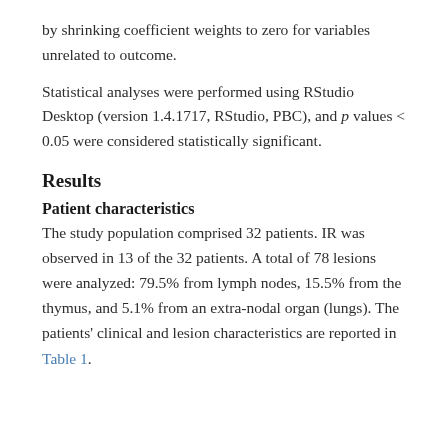by shrinking coefficient weights to zero for variables unrelated to outcome.
Statistical analyses were performed using RStudio Desktop (version 1.4.1717, RStudio, PBC), and p values < 0.05 were considered statistically significant.
Results
Patient characteristics
The study population comprised 32 patients. IR was observed in 13 of the 32 patients. A total of 78 lesions were analyzed: 79.5% from lymph nodes, 15.5% from the thymus, and 5.1% from an extra-nodal organ (lungs). The patients' clinical and lesion characteristics are reported in Table 1.